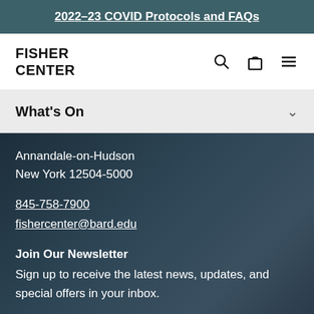2022–23 COVID Protocols and FAQs
[Figure (logo): Fisher Center logo text in bold black on white background]
What's On
Annandale-on-Hudson
New York 12504-5000
845-758-7900
fishercenter@bard.edu
Join Our Newsletter
Sign up to receive the latest news, updates, and special offers in your inbox.
Email Address